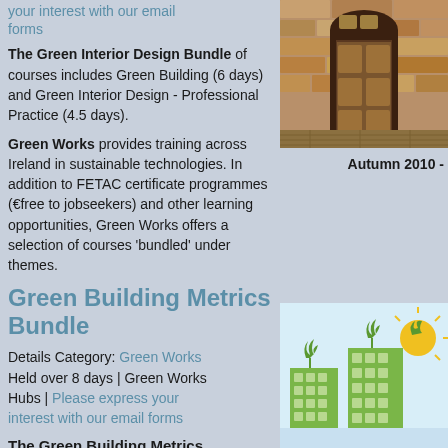your interest with our email forms
[Figure (photo): Interior hallway with stone walls and wooden arched door]
The Green Interior Design Bundle of courses includes Green Building (6 days) and Green Interior Design - Professional Practice (4.5 days).
Green Works provides training across Ireland in sustainable technologies. In addition to FETAC certificate programmes (€free to jobseekers) and other learning opportunities, Green Works offers a selection of courses 'bundled' under themes.
Green Building Metrics Bundle
Details  Category: Green Works Held over 8 days | Green Works Hubs | Please express your interest with our email forms
Autumn 2010 -
[Figure (illustration): Green buildings with plants and sun icon illustration]
The Green Building Metrics